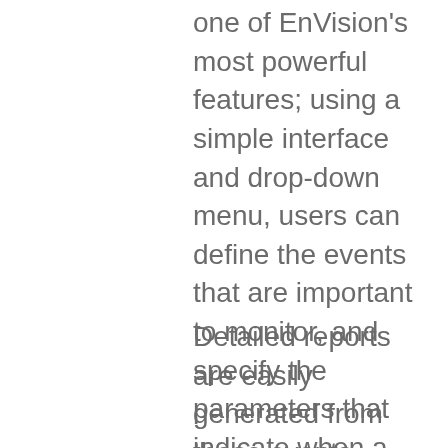one of EnVision's most powerful features; using a simple interface and drop-down menu, users can define the events that are important to monitor, and specify the parameters that indicate when a flight has deviated from flight ops.
Detailed reports are easily generated from those events, delivering the information that operators want to monitor and the ability to trend that information over time. Comprehensive data for every flight is archived on the Appareo servers, giving customers convenient online access to their